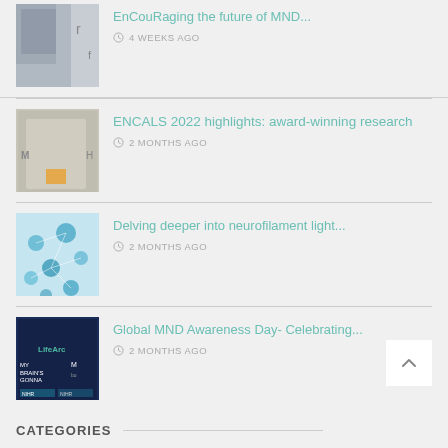EnCouRaging the future of MND… — 4 WEEKS AGO
ENCALS 2022 highlights: award-winning research — 2 MONTHS AGO
Delving deeper into neurofilament light… — 2 MONTHS AGO
Global MND Awareness Day- Celebrating… — 2 MONTHS AGO
CATEGORIES